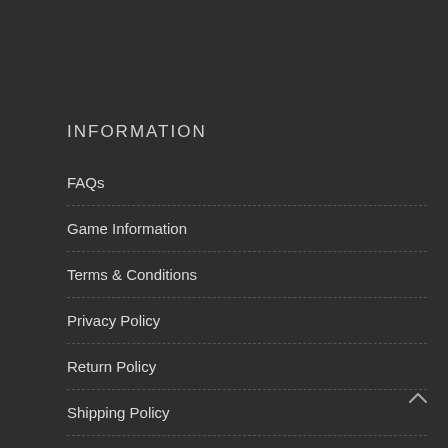INFORMATION
FAQs
Game Information
Terms & Conditions
Privacy Policy
Return Policy
Shipping Policy
Security Policy
Subscribe